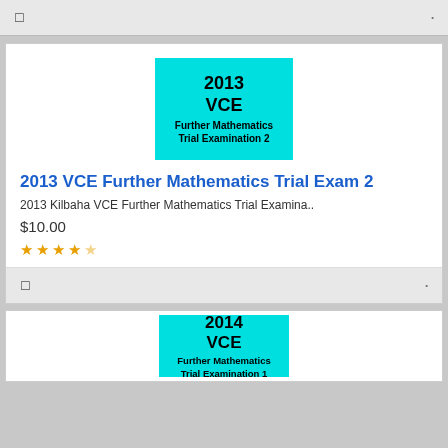[Figure (screenshot): Top navigation bar with icon and dot]
[Figure (illustration): 2013 VCE Further Mathematics Trial Examination 2 cover image - cyan/turquoise background with bold text]
2013 VCE Further Mathematics Trial Exam 2
2013 Kilbaha VCE Further Mathematics Trial Examina..
$10.00
[Figure (other): 4 filled stars and 1 half/empty star rating]
[Figure (screenshot): Bottom navigation bar with icon and dot]
[Figure (illustration): 2014 VCE Further Mathematics Trial Examination 1 cover image - cyan/turquoise background with bold text]